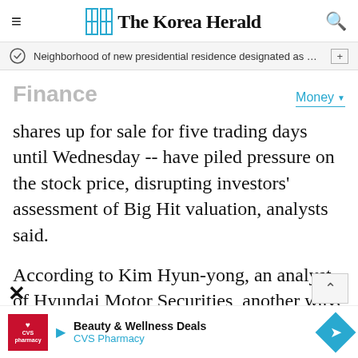The Korea Herald
Neighborhood of new presidential residence designated as milita…
Finance
Money
shares up for sale for five trading days until Wednesday -- have piled pressure on the stock price, disrupting investors' assessment of Big Hit valuation, analysts said.
According to Kim Hyun-yong, an analyst of Hyundai Motor Securities, another wave of selling activity is expected to come.
[Figure (other): CVS Pharmacy advertisement banner with Beauty & Wellness Deals text and CVS logo]